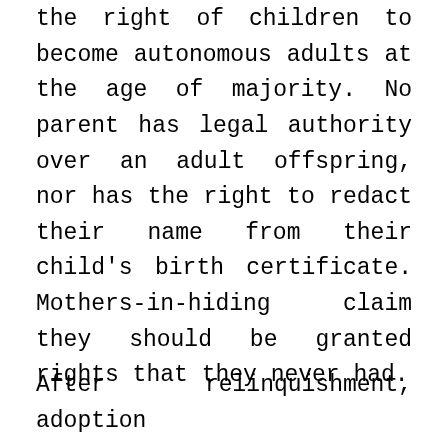the right of children to become autonomous adults at the age of majority. No parent has legal authority over an adult offspring, nor has the right to redact their name from their child's birth certificate. Mothers-in-hiding claim they should be granted rights that they never had.
After relinquishment, adoption